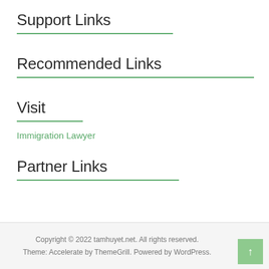Support Links
Recommended Links
Visit
Immigration Lawyer
Partner Links
Copyright © 2022 tamhuyet.net. All rights reserved. Theme: Accelerate by ThemeGrill. Powered by WordPress.